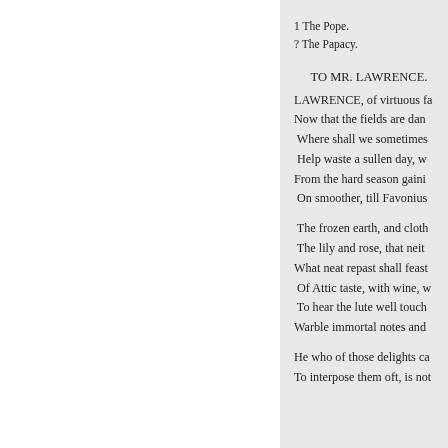1 The Pope.
? The Papacy.
TO MR. LAWRENCE.
LAWRENCE, of virtuous fa
Now that the fields are dan
Where shall we sometimes
Help waste a sullen day, w
From the hard season gaini
On smoother, till Favonius

The frozen earth, and cloth
The lily and rose, that neit
What neat repast shall feast
Of Attic taste, with wine, w
To hear the lute well touch
Warble immortal notes and

He who of those delights ca
To interpose them oft, is not